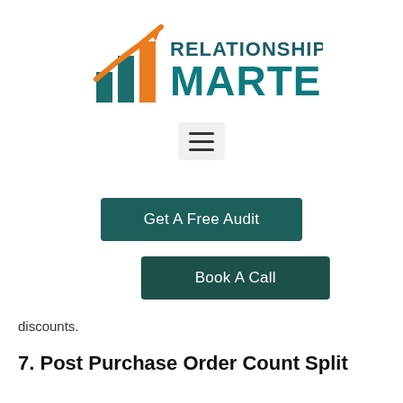[Figure (logo): Relationship Martech logo with orange and teal bar/arrow chart icon on the left, and 'RELATIONSHIP MARTECH' text in teal on the right]
[Figure (other): Hamburger menu button with three horizontal lines inside a light gray rounded rectangle]
[Figure (other): Dark teal 'Get A Free Audit' button]
[Figure (other): Dark teal 'Book A Call' button]
discounts.
7. Post Purchase Order Count Split
We used this flow to upsell complementary products and created multiple flows for different product categories. This allowed us to upsell